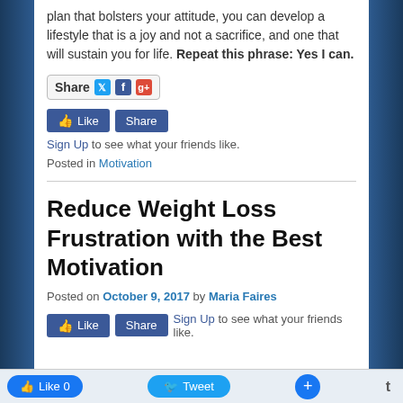plan that bolsters your attitude, you can develop a lifestyle that is a joy and not a sacrifice, and one that will sustain you for life. Repeat this phrase: Yes I can.
[Figure (screenshot): Share widget with Twitter, Facebook, and Google+ icons]
[Figure (screenshot): Facebook Like and Share buttons with Sign Up text: Sign Up to see what your friends like.]
Posted in Motivation
Reduce Weight Loss Frustration with the Best Motivation
Posted on October 9, 2017 by Maria Faires
[Figure (screenshot): Facebook Like and Share buttons with Sign Up text: Sign Up to see what your friends like.]
Like 0   Tweet   +   t